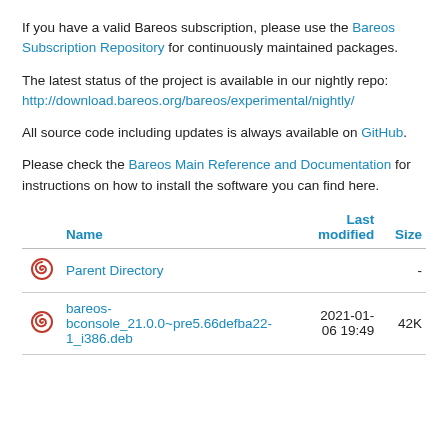If you have a valid Bareos subscription, please use the Bareos Subscription Repository for continuously maintained packages.
The latest status of the project is available in our nightly repo: http://download.bareos.org/bareos/experimental/nightly/
All source code including updates is always available on GitHub.
Please check the Bareos Main Reference and Documentation for instructions on how to install the software you can find here.
|  | Name | Last modified | Size |
| --- | --- | --- | --- |
| [icon] | Parent Directory |  | - |
| [icon] | bareos-bconsole_21.0.0~pre5.66defba22-1_i386.deb | 2021-01-06 19:49 | 42K |